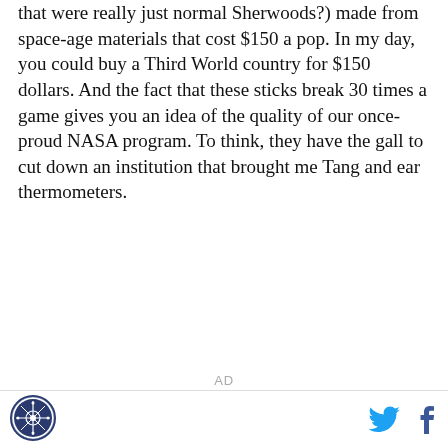that were really just normal Sherwoods?) made from space-age materials that cost $150 a pop. In my day, you could buy a Third World country for $150 dollars. And the fact that these sticks break 30 times a game gives you an idea of the quality of our once-proud NASA program. To think, they have the gall to cut down an institution that brought me Tang and ear thermometers.
AD
[Figure (logo): Circular logo with compass rose / snowflake design and text around the border]